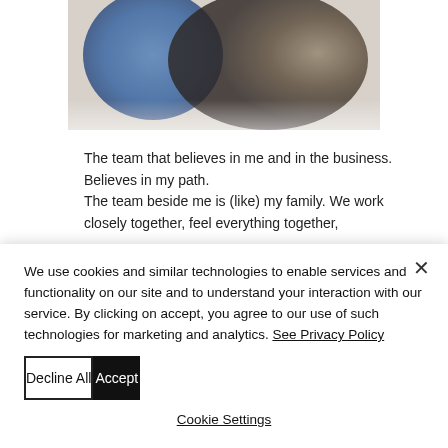[Figure (photo): A blurred photo of people, with blue and dark tones visible, cropped at the top of the page.]
The team that believes in me and in the business. Believes in my path.
The team beside me is (like) my family. We work closely together, feel everything together,
We use cookies and similar technologies to enable services and functionality on our site and to understand your interaction with our service. By clicking on accept, you agree to our use of such technologies for marketing and analytics. See Privacy Policy
Decline All
Accept
Cookie Settings